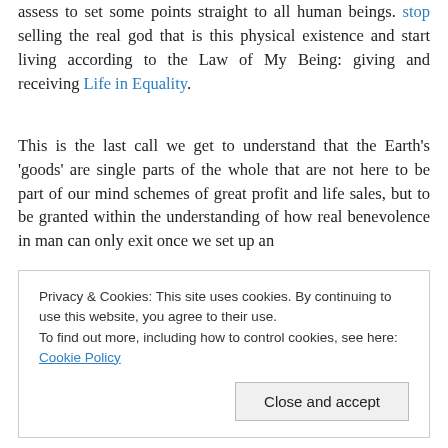assess to set some points straight to all human beings. stop selling the real god that is this physical existence and start living according to the Law of My Being: giving and receiving Life in Equality.
This is the last call we get to understand that the Earth's 'goods' are single parts of the whole that are not here to be part of our mind schemes of great profit and life sales, but to be granted within the understanding of how real benevolence in man can only exit once we set up an
Privacy & Cookies: This site uses cookies. By continuing to use this website, you agree to their use.
To find out more, including how to control cookies, see here: Cookie Policy